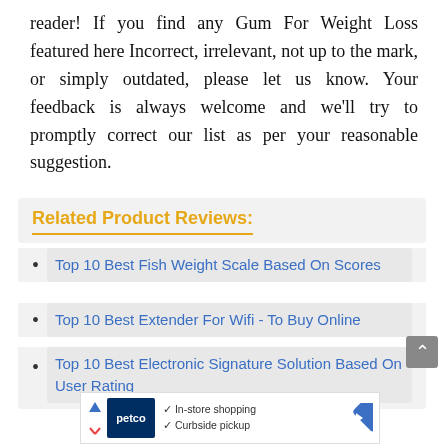reader! If you find any Gum For Weight Loss featured here Incorrect, irrelevant, not up to the mark, or simply outdated, please let us know. Your feedback is always welcome and we'll try to promptly correct our list as per your reasonable suggestion.
Related Product Reviews:
Top 10 Best Fish Weight Scale Based On Scores
Top 10 Best Extender For Wifi - To Buy Online
Top 10 Best Electronic Signature Solution Based On User Rating
[Figure (other): Petco advertisement banner showing in-store shopping and curbside pickup options with Petco logo and a navigation arrow icon]